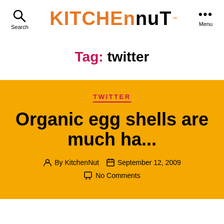Search | KITCHENNUT™ | Menu
Tag: twitter
TWITTER
Organic egg shells are much ha...
By KitchenNut  September 12, 2009  No Comments